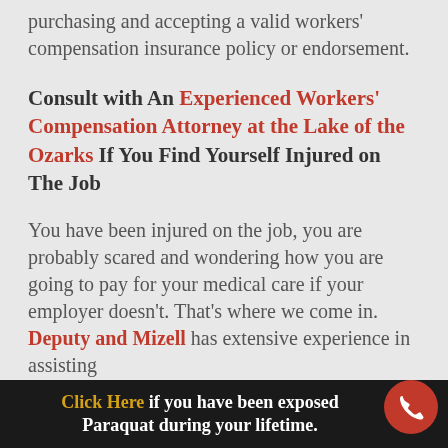purchasing and accepting a valid workers' compensation insurance policy or endorsement.
Consult with An Experienced Workers' Compensation Attorney at the Lake of the Ozarks If You Find Yourself Injured on The Job
You have been injured on the job, you are probably scared and wondering how you are going to pay for your medical care if your employer doesn't. That's where we come in. Deputy and Mizell has extensive experience in assisting
Click Here if you have been exposed Paraquat during your lifetime.